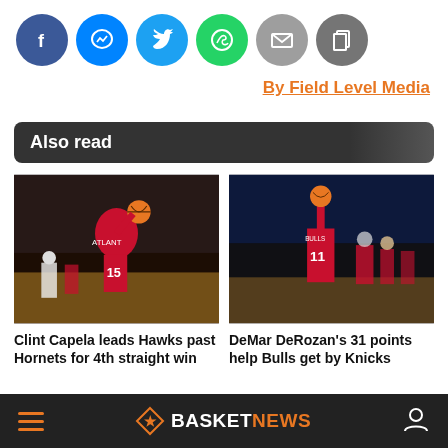[Figure (infographic): Row of six social media share buttons: Facebook (dark blue), Messenger (blue), Twitter (light blue), WhatsApp (green), Email (grey), Copy link (grey)]
By Field Level Media
Also read
[Figure (photo): Atlanta Hawks player #15 Clint Capela reaching for basketball during game against Charlotte Hornets]
[Figure (photo): Chicago Bulls player #11 DeMar DeRozan shooting basketball during game against Knicks, teammates in background]
Clint Capela leads Hawks past Hornets for 4th straight win
DeMar DeRozan's 31 points help Bulls get by Knicks
BASKETNEWS